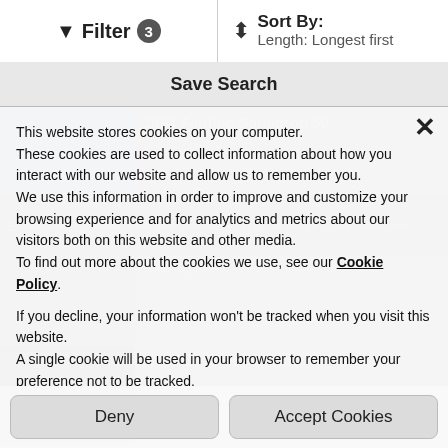Filter 3   Sort By: Length: Longest first
Save Search
[Figure (screenshot): Background website listing page showing boat listings, partially obscured by cookie consent dialog]
This website stores cookies on your computer.
These cookies are used to collect information about how you interact with our website and allow us to remember you.
We use this information in order to improve and customize your browsing experience and for analytics and metrics about our visitors both on this website and other media.
To find out more about the cookies we use, see our Cookie Policy.
If you decline, your information won't be tracked when you visit this website.
A single cookie will be used in your browser to remember your preference not to be tracked.
Deny
Accept Cookies